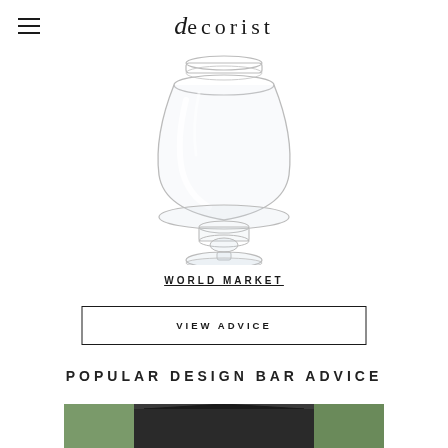decorist
[Figure (photo): A clear glass apothecary jar with a rounded body and a pedestal base, photographed on a white background.]
WORLD MARKET
VIEW ADVICE
POPULAR DESIGN BAR ADVICE
[Figure (photo): Partial view of a barn-style house with dark siding and a peaked roof, surrounded by trees.]